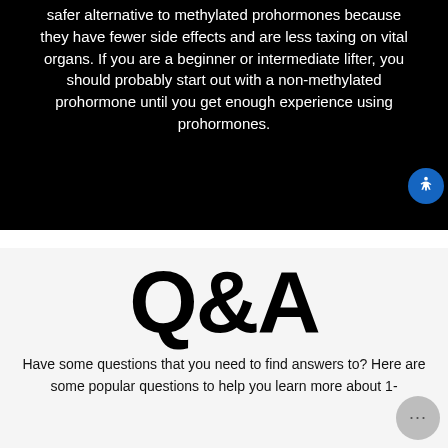safer alternative to methylated prohormones because they have fewer side effects and are less taxing on vital organs. If you are a beginner or intermediate lifter, you should probably start out with a non-methylated prohormone until you get enough experience using prohormones.
Q&A
Have some questions that you need to find answers to? Here are some popular questions to help you learn more about 1-